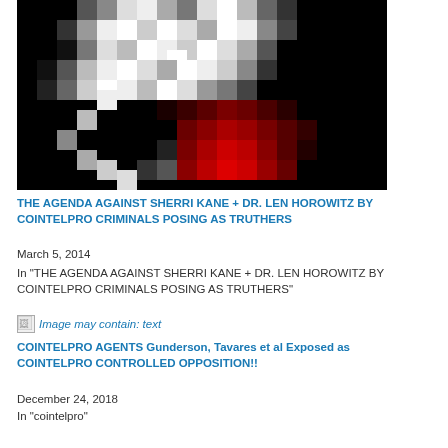[Figure (photo): Pixelated/low-resolution black, white and dark red image, appears to show a figure or scene but is heavily pixelated and unclear.]
THE AGENDA AGAINST SHERRI KANE + DR. LEN HOROWITZ BY COINTELPRO CRIMINALS POSING AS TRUTHERS
March 5, 2014
In "THE AGENDA AGAINST SHERRI KANE + DR. LEN HOROWITZ BY COINTELPRO CRIMINALS POSING AS TRUTHERS"
[Figure (photo): Broken/missing image placeholder with alt text: Image may contain: text]
COINTELPRO AGENTS Gunderson, Tavares et al Exposed as COINTELPRO CONTROLLED OPPOSITION!!
December 24, 2018
In "cointelpro"